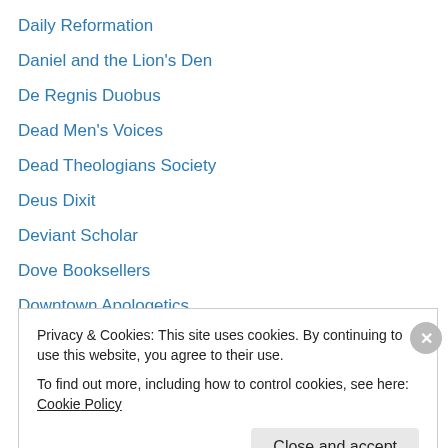Daily Reformation
Daniel and the Lion's Den
De Regnis Duobus
Dead Men's Voices
Dead Theologians Society
Deus Dixit
Deviant Scholar
Dove Booksellers
Downtown Apologetics
Doxoblogy
Dr. Al Mohler
Dr. Niel Nielson
Endeavoring Relevant Progress
Privacy & Cookies: This site uses cookies. By continuing to use this website, you agree to their use.
To find out more, including how to control cookies, see here: Cookie Policy
Close and accept